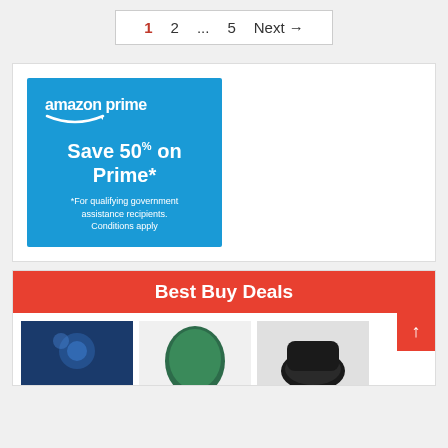[Figure (screenshot): Pagination navigation with page numbers 1, 2, ..., 5 and Next arrow. Page 1 is highlighted in red.]
[Figure (infographic): Amazon Prime advertisement: blue background with 'amazon prime' logo, smile icon, 'Save 50% on Prime*' in bold white text, and disclaimer '*For qualifying government assistance recipients. Conditions apply']
[Figure (infographic): Best Buy Deals section with orange-red header banner reading 'Best Buy Deals' and three product thumbnail images below.]